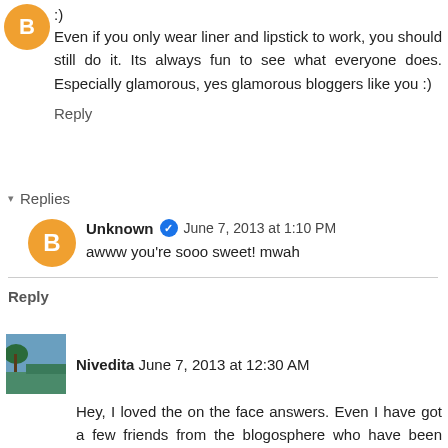:)
Even if you only wear liner and lipstick to work, you should still do it. Its always fun to see what everyone does. Especially glamorous, yes glamorous bloggers like you :)
Reply
Replies
Unknown  June 7, 2013 at 1:10 PM
awww you're sooo sweet! mwah
Reply
Nivedita  June 7, 2013 at 12:30 AM
Hey, I loved the on the face answers. Even I have got a few friends from the blogosphere who have been really helpful. But yes, by that 'social'... I don't know. I don't have much time and when I do, I don;t always feel like.
Reply